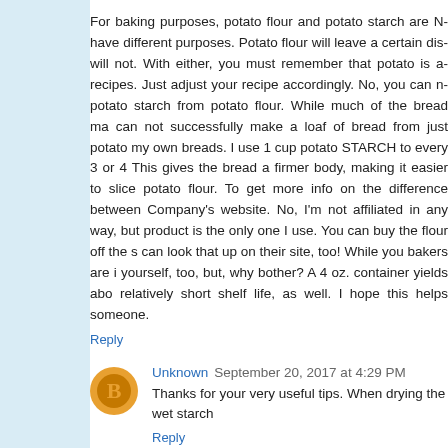For baking purposes, potato flour and potato starch are N... have different purposes. Potato flour will leave a certain dis... will not. With either, you must remember that potato is a... recipes. Just adjust your recipe accordingly. No, you can n... potato starch from potato flour. While much of the bread ma... can not successfully make a loaf of bread from just potato... my own breads. I use 1 cup potato STARCH to every 3 or 4... This gives the bread a firmer body, making it easier to slice... potato flour. To get more info on the difference between... Company's website. No, I'm not affiliated in any way, but... product is the only one I use. You can buy the flour off the s... can look that up on their site, too! While you bakers are i... yourself, too, but, why bother? A 4 oz. container yields abo... relatively short shelf life, as well. I hope this helps someone.
Reply
Unknown  September 20, 2017 at 4:29 PM
Thanks for your very useful tips. When drying the wet starch...
Reply
Anonymous  October 18, 2017 at 4:21 PM
When we were kids in the 1940's making home made kit...